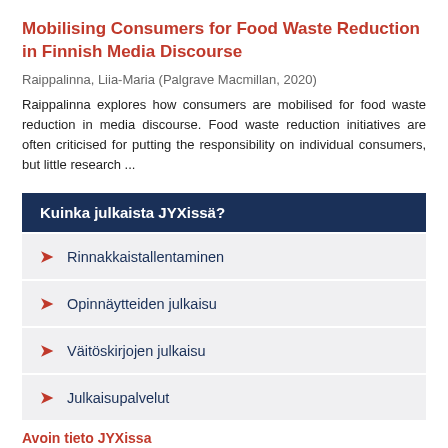Mobilising Consumers for Food Waste Reduction in Finnish Media Discourse
Raippalinna, Liia-Maria (Palgrave Macmillan, 2020)
Raippalinna explores how consumers are mobilised for food waste reduction in media discourse. Food waste reduction initiatives are often criticised for putting the responsibility on individual consumers, but little research ...
Kuinka julkaista JYXissä?
Rinnakkaistallentaminen
Opinnäytteiden julkaisu
Väitöskirjojen julkaisu
Julkaisupalvelut
Avoin tieto JYXissa